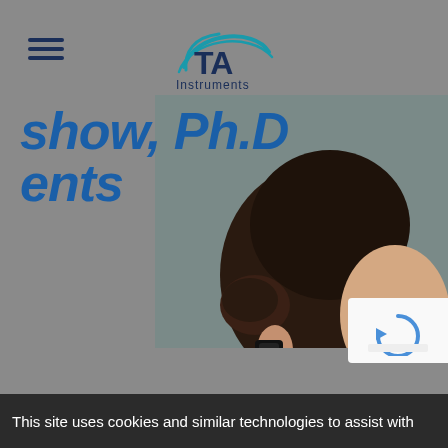[Figure (logo): TA Instruments logo with teal swoosh arc above letters 'TA' and 'Instruments' text below in dark navy blue]
show, Ph.D... / ments
[Figure (photo): Close-up photo of a woman smiling, wearing a dark teal/navy cardigan over a purple floral top, with dark hair up in a bun, wearing a small black device near her ear, partially cropped]
This site uses cookies and similar technologies to assist with